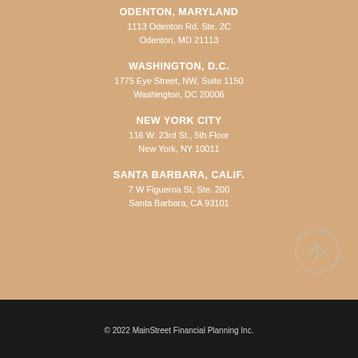ODENTON, MARYLAND
1113 Odenton Rd. Ste. 2C
Odenton, MD 21113
WASHINGTON, D.C.
1775 Eye Street, NW, Suite 1150
Washington, DC 20006
NEW YORK CITY
116 W. 23rd St., 5th Floor
New York, NY 10011
SANTA BARBARA, CALIF.
7 W Figueroa St, Ste. 200
Santa Barbara, CA 93101
[Figure (other): Circular scroll-to-top button with upward arrow]
© 2022 MainStreet Financial Planning Inc.